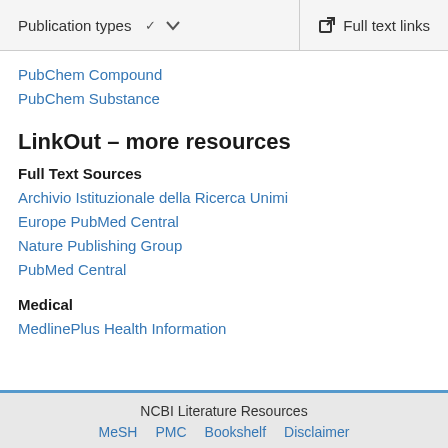Publication types  ∨   Full text links
PubChem Compound
PubChem Substance
LinkOut – more resources
Full Text Sources
Archivio Istituzionale della Ricerca Unimi
Europe PubMed Central
Nature Publishing Group
PubMed Central
Medical
MedlinePlus Health Information
NCBI Literature Resources  MeSH  PMC  Bookshelf  Disclaimer